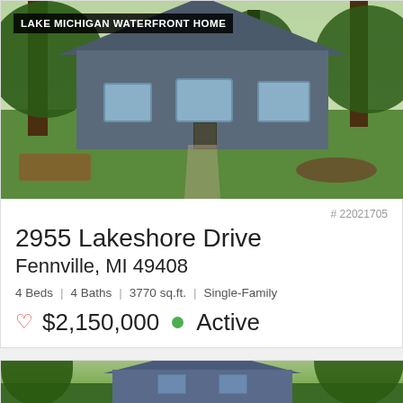[Figure (photo): Exterior photo of a gray single-family Lake Michigan waterfront home with large trees, green lawn, and outdoor patio furniture. Overlay text reads 'LAKE MICHIGAN WATERFRONT HOME'.]
# 22021705
2955 Lakeshore Drive
Fennville, MI 49408
4 Beds | 4 Baths | 3770 sq.ft. | Single-Family
♡ $2,150,000 ● Active
[Figure (photo): Partial exterior photo of a second listing showing a blue/gray home surrounded by trees.]